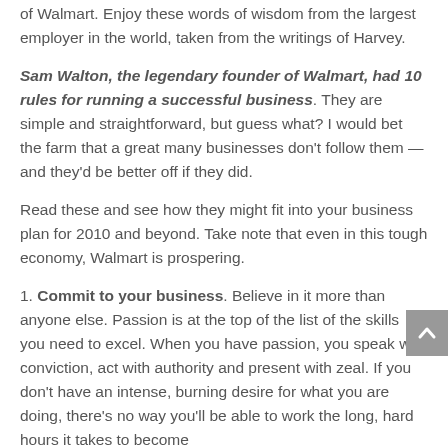of Walmart. Enjoy these words of wisdom from the largest employer in the world, taken from the writings of Harvey.
Sam Walton, the legendary founder of Walmart, had 10 rules for running a successful business. They are simple and straightforward, but guess what? I would bet the farm that a great many businesses don't follow them — and they'd be better off if they did.
Read these and see how they might fit into your business plan for 2010 and beyond. Take note that even in this tough economy, Walmart is prospering.
1. Commit to your business. Believe in it more than anyone else. Passion is at the top of the list of the skills you need to excel. When you have passion, you speak with conviction, act with authority and present with zeal. If you don't have an intense, burning desire for what you are doing, there's no way you'll be able to work the long, hard hours it takes to become